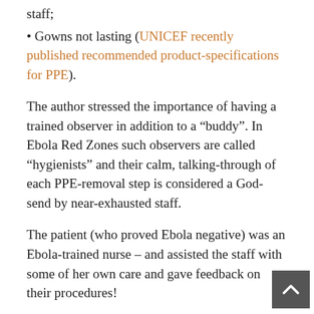staff;
• Gowns not lasting (UNICEF recently published recommended product-specifications for PPE).
The author stressed the importance of having a trained observer in addition to a “buddy”. In Ebola Red Zones such observers are called “hygienists” and their calm, talking-through of each PPE-removal step is considered a God-send by near-exhausted staff.
The patient (who proved Ebola negative) was an Ebola-trained nurse – and assisted the staff with some of her own care and gave feedback on their procedures!
NB. If you would like to receive “New Post Alerts” via email – sign up below. I won’t share with anyone!